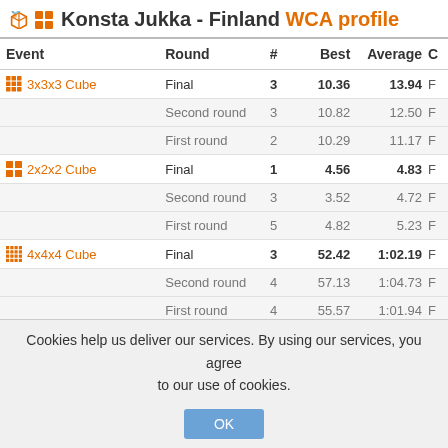Konsta Jukka - Finland WCA profile
| Event | Round | # | Best | Average | C |
| --- | --- | --- | --- | --- | --- |
| 3x3x3 Cube | Final | 3 | 10.36 | 13.94 | F |
|  | Second round | 3 | 10.82 | 12.50 | F |
|  | First round | 2 | 10.29 | 11.17 | F |
| 2x2x2 Cube | Final | 1 | 4.56 | 4.83 | F |
|  | Second round | 3 | 3.52 | 4.72 | F |
|  | First round | 5 | 4.82 | 5.23 | F |
| 4x4x4 Cube | Final | 3 | 52.42 | 1:02.19 | F |
|  | Second round | 4 | 57.13 | 1:04.73 | F |
|  | First round | 4 | 55.57 | 1:01.94 | F |
| 5x5x5 Cube | Final | 4 | 1:49.70 | 2:01.35 | F |
Cookies help us deliver our services. By using our services, you agree to our use of cookies.